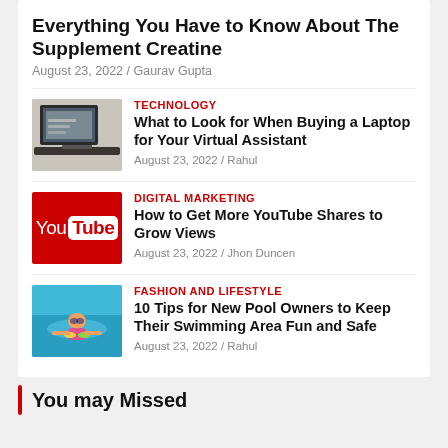Everything You Have to Know About The Supplement Creatine
August 23, 2022 / Gaurav Gupta
[Figure (photo): Laptop on desk thumbnail]
TECHNOLOGY
What to Look for When Buying a Laptop for Your Virtual Assistant
August 23, 2022 / Rahul
[Figure (logo): YouTube logo on red background]
DIGITAL MARKETING
How to Get More YouTube Shares to Grow Views
August 23, 2022 / Jhon Duncen
[Figure (photo): Child swimming in pool thumbnail]
FASHION AND LIFESTYLE
10 Tips for New Pool Owners to Keep Their Swimming Area Fun and Safe
August 23, 2022 / Rahul
You may Missed